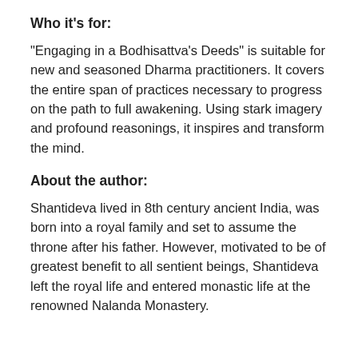Who it’s for:
“Engaging in a Bodhisattva’s Deeds” is suitable for new and seasoned Dharma practitioners. It covers the entire span of practices necessary to progress on the path to full awakening. Using stark imagery and profound reasonings, it inspires and transform the mind.
About the author:
Shantideva lived in 8th century ancient India, was born into a royal family and set to assume the throne after his father. However, motivated to be of greatest benefit to all sentient beings, Shantideva left the royal life and entered monastic life at the renowned Nalanda Monastery.